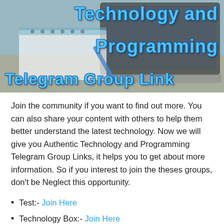[Figure (photo): Banner image showing a laptop and notebook on a desk, with overlay text reading 'Technology and Programming Telegram Group Link' in blue stylized font]
Join the community if you want to find out more. You can also share your content with others to help them better understand the latest technology. Now we will give you Authentic Technology and Programming Telegram Group Links, it helps you to get about more information. So if you interest to join the theses groups, don't be Neglect this opportunity.
Test:- Join Here
Technology Box:- Join Here
Science, Technology, Gaming & More:- Join Here
Tech Technology Guru:- Join Here